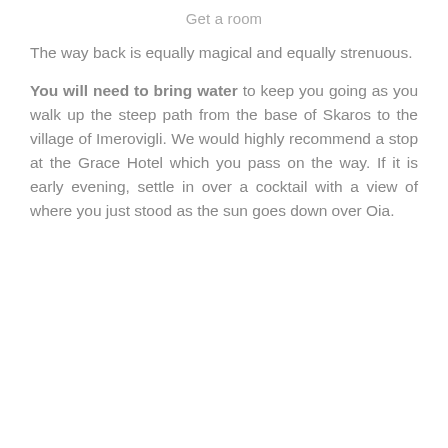Get a room
The way back is equally magical and equally strenuous.
You will need to bring water to keep you going as you walk up the steep path from the base of Skaros to the village of Imerovigli. We would highly recommend a stop at the Grace Hotel which you pass on the way. If it is early evening, settle in over a cocktail with a view of where you just stood as the sun goes down over Oia.